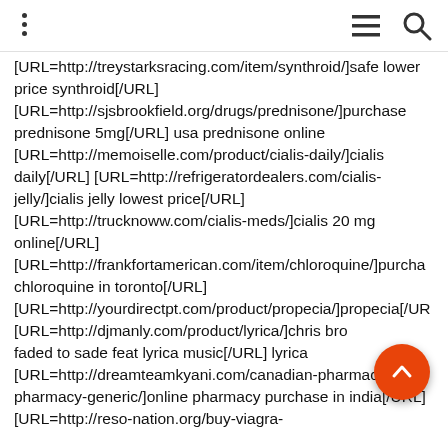⋮  ≡  🔍
[URL=http://treystarksracing.com/item/synthroid/]safe lower price synthroid[/URL] [URL=http://sjsbrookfield.org/drugs/prednisone/]purchase prednisone 5mg[/URL] usa prednisone online [URL=http://memoiselle.com/product/cialis-daily/]cialis daily[/URL] [URL=http://refrigeratordealers.com/cialis-jelly/]cialis jelly lowest price[/URL] [URL=http://trucknoww.com/cialis-meds/]cialis 20 mg online[/URL] [URL=http://frankfortamerican.com/item/chloroquine/]purcha chloroquine in toronto[/URL] [URL=http://yourdirectpt.com/product/propecia/]propecia[/UR [URL=http://djmanly.com/product/lyrica/]chris brow faded to sade feat lyrica music[/URL] lyrica [URL=http://dreamteamkyani.com/canadian-pharmacy-pharmacy-generic/]online pharmacy purchase in india[/URL] [URL=http://reso-nation.org/buy-viagra-